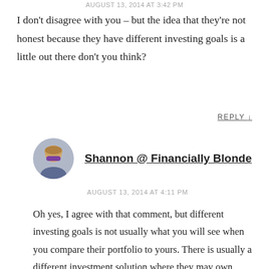AUGUST 13, 2014 AT 3:42 PM
I don't disagree with you – but the idea that they're not honest because they have different investing goals is a little out there don't you think?
REPLY ↓
Shannon @ Financially Blonde
AUGUST 13, 2014 AT 4:11 PM
Oh yes, I agree with that comment, but different investing goals is not usually what you will see when you compare their portfolio to yours. There is usually a different investment solution where they may own